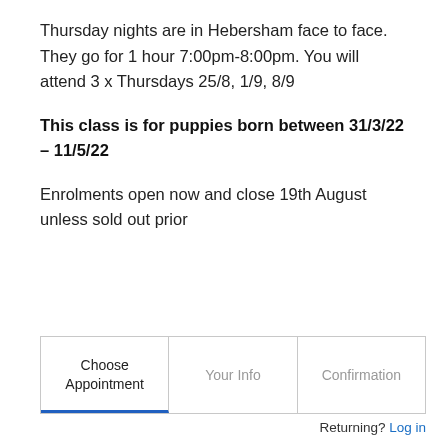Thursday nights are in Hebersham face to face. They go for 1 hour 7:00pm-8:00pm. You will attend 3 x Thursdays 25/8, 1/9, 8/9
This class is for puppies born between 31/3/22 – 11/5/22
Enrolments open now and close 19th August unless sold out prior
[Figure (other): Three-step booking wizard bar with steps: Choose Appointment (active), Your Info, Confirmation]
Returning? Log in